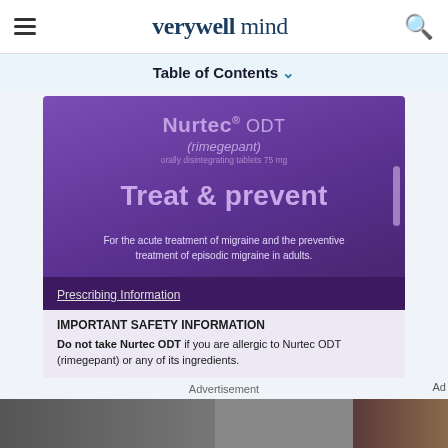verywell mind
Table of Contents ∨
[Figure (advertisement): Nurtec ODT (rimegepant) pharmaceutical advertisement. Purple background with text 'Treat & prevent'. States it is for acute treatment of migraine and preventive treatment of episodic migraine in adults. Includes Prescribing Information link and Important Safety Information section.]
Advertisement
[Figure (photo): Partial photo of people at bottom of page]
We help people find answers, solve problems and get inspired. Dotdash meredith